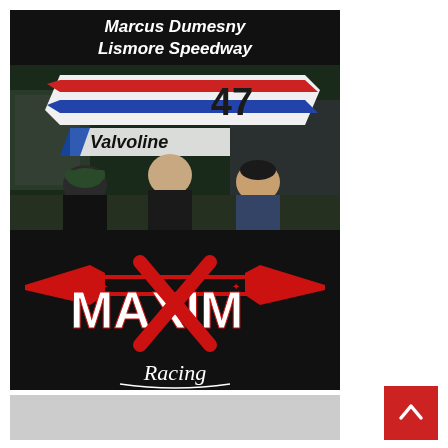[Figure (photo): Photo of Marcus Dumesny and two others standing in front of a Valvoline #47 sprint car wing sign at Lismore Speedway, with a Maxim Racing logo below.]
[Figure (logo): Red, white and black Maxim Racing logo on black background]
[Figure (other): Gray placeholder block below main image]
[Figure (other): Red back-to-top button with upward arrow chevron in bottom right]